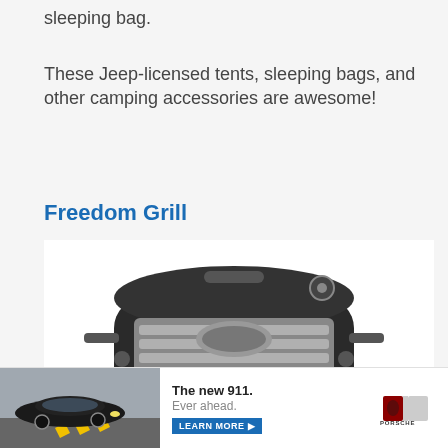sleeping bag.
These Jeep-licensed tents, sleeping bags, and other camping accessories are awesome!
Freedom Grill
[Figure (photo): A portable Freedom Grill barbecue grill with chrome front panel, black body, and wheels]
[Figure (photo): Advertisement banner: Porsche 911 car on a road with text 'The new 911. Ever ahead.' and a Learn More button and Porsche logo]